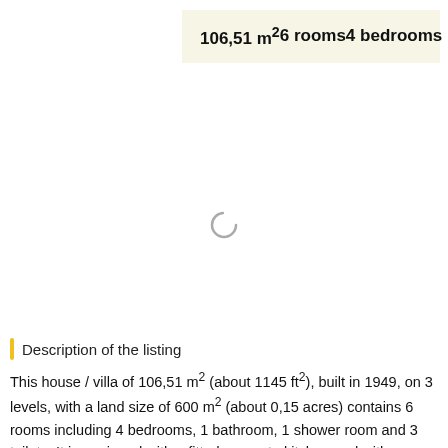106,51 m²   6 rooms   4 bedrooms
[Figure (other): Loading spinner icon in center of page]
Description of the listing
This house / villa of 106,51 m² (about 1145 ft²), built in 1949, on 3 levels, with a land size of 600 m² (about 0,15 acres) contains 6 rooms including 4 bedrooms, 1 bathroom, 1 shower room and 3 toilets. It is equipped with a fitted separate kitchen and with a